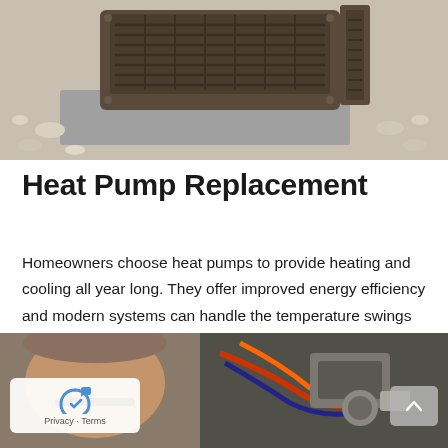[Figure (photo): Outdoor HVAC heat pump unit sitting on a concrete pad surrounded by white gravel/rocks. The unit is dark brown/gray metal with ventilation grilles on top.]
Heat Pump Replacement
Homeowners choose heat pumps to provide heating and cooling all year long. They offer improved energy efficiency and modern systems can handle the temperature swings that happen in Aston, PA. Even if you have a furnace and central air, a heat pump may be a good replacement option for your home.
[Figure (photo): A technician working on HVAC equipment. Partially visible face and wiring/components of an HVAC unit with orange and other colored wires visible.]